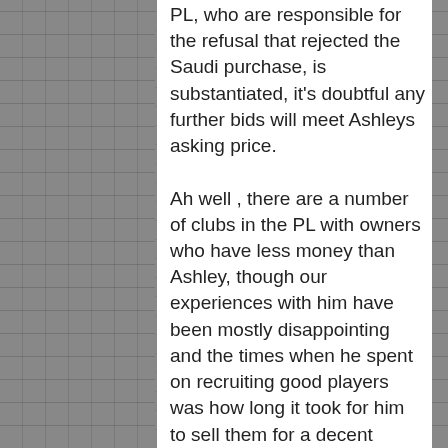PL, who are responsible for the refusal that rejected the Saudi purchase, is substantiated, it's doubtful any further bids will meet Ashleys asking price.
Ah well , there are a number of clubs in the PL with owners who have less money than Ashley, though our experiences with him have been mostly disappointing and the times when he spent on recruiting good players was how long it took for him to sell them for a decent profit, not long .
Soh ! get a decent manager, buy players each season and who knows we could end up being the NUFC of old, a top eight side with ambition would be good enough for me it.s not that much to ask, is it ?
37. chuck says:
December 7, 2020 at 3:59 pm
Hmmm !
Looks like our dear owner will need some